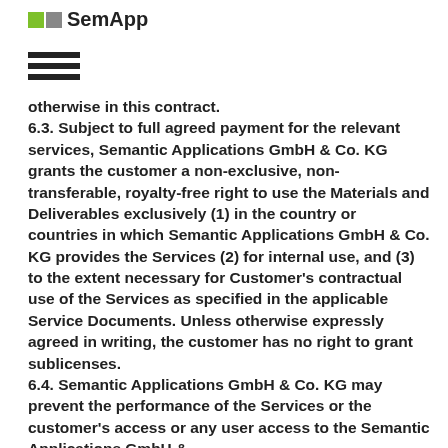SemApp
otherwise in this contract.
6.3. Subject to full agreed payment for the relevant services, Semantic Applications GmbH & Co. KG grants the customer a non-exclusive, non-transferable, royalty-free right to use the Materials and Deliverables exclusively (1) in the country or countries in which Semantic Applications GmbH & Co. KG provides the Services (2) for internal use, and (3) to the extent necessary for Customer's contractual use of the Services as specified in the applicable Service Documents. Unless otherwise expressly agreed in writing, the customer has no right to grant sublicenses.
6.4. Semantic Applications GmbH & Co. KG may prevent the performance of the Services or the customer's access or any user access to the Semantic Applications GmbH & Co. KG...